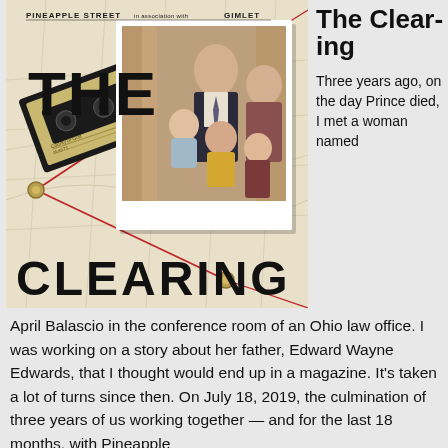[Figure (illustration): Podcast cover art for 'The Clearing' by Pineapple Street in association with Gimlet. Features a cassette tape and a vintage family photograph overlaid on a map background, with bold text reading 'THE CLEARING'.]
The Clearing
Three years ago, on the day Prince died, I met a woman named April Balascio in the conference room of an Ohio law office. I was working on a story about her father, Edward Wayne Edwards, that I thought would end up in a magazine. It's taken a lot of turns since then. On July 18, 2019, the culmination of three years of us working together — and for the last 18 months, with Pineapple